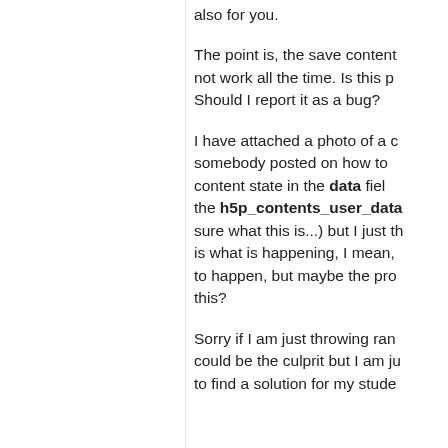also for you.
The point is, the save content not work all the time. Is this p Should I report it as a bug?
I have attached a photo of a c somebody posted on how to content state in the data field the h5p_contents_user_data sure what this is...) but I just th is what is happening, I mean, to happen, but maybe the pro this?
Sorry if I am just throwing ran could be the culprit but I am ju to find a solution for my stude